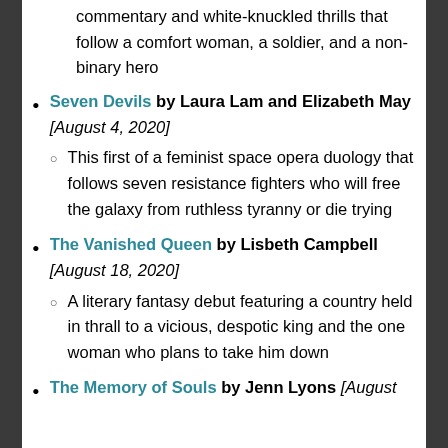commentary and white-knuckled thrills that follow a comfort woman, a soldier, and a non-binary hero
Seven Devils by Laura Lam and Elizabeth May [August 4, 2020]
This first of a feminist space opera duology that follows seven resistance fighters who will free the galaxy from ruthless tyranny or die trying
The Vanished Queen by Lisbeth Campbell [August 18, 2020]
A literary fantasy debut featuring a country held in thrall to a vicious, despotic king and the one woman who plans to take him down
The Memory of Souls by Jenn Lyons [August